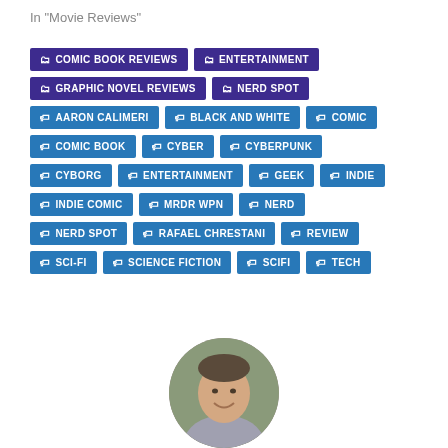In "Movie Reviews"
COMIC BOOK REVIEWS
ENTERTAINMENT
GRAPHIC NOVEL REVIEWS
NERD SPOT
AARON CALIMERI
BLACK AND WHITE
COMIC
COMIC BOOK
CYBER
CYBERPUNK
CYBORG
ENTERTAINMENT
GEEK
INDIE
INDIE COMIC
MRDR WPN
NERD
NERD SPOT
RAFAEL CHRESTANI
REVIEW
SCI-FI
SCIENCE FICTION
SCIFI
TECH
[Figure (photo): Circular cropped portrait photo of a man smiling, partially visible at bottom of page]